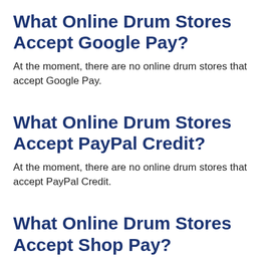What Online Drum Stores Accept Google Pay?
At the moment, there are no online drum stores that accept Google Pay.
What Online Drum Stores Accept PayPal Credit?
At the moment, there are no online drum stores that accept PayPal Credit.
What Online Drum Stores Accept Shop Pay?